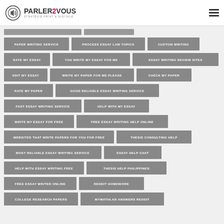[Figure (logo): Parler2Vous logo with speaker icon and tagline STRATÉGIE PRINT & DIGITALE]
PAPER WRITING SERVICE
PROCESS ESSAY LAW TOPICS
CUSTOM WRITING
RATE MY ESSAY
YOU WRITE MY ESSAY FOR ME
ESSAY WRITING REVIEW SITES
EDIT MY ESSAY
WRITE MY PAPER FOR ME PLEASE
CHECK MY PAPER
RATE MY PAPER
GOOD RELIABLE ESSAY WRITING SERVICE
FAST ESSAY WRITING SERVICE
HELP WITH MY ESSAY
WRITE MY ESSAY FOR FREE
FREE ESSAY WRITING HELP ONLINE
WEBSITES THAT WRITE PAPERS FOR YOU FOR FREE
THESIS CONSULTING HELP
MOST RELIABLE ESSAY WRITING SERVICE
ESSAY HELP CHAT
HELP WITH ESSAY WRITING FREE
THESIS HELP PHILIPPINES
FREE ESSAY WRITER ONLINE
REDDIT HOMEWORK
COLLEGE RESEARCH PAPERS
MYMATHLAB ANSWERS REDDIT